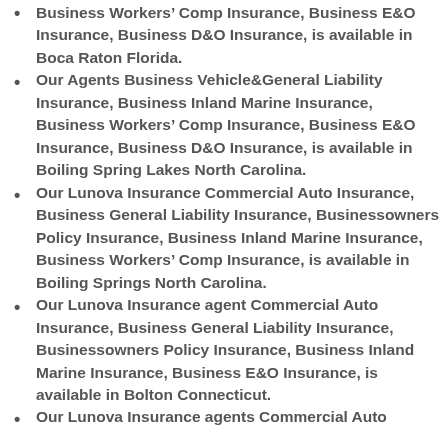Business Workers' Comp Insurance, Business E&O Insurance, Business D&O Insurance, is available in Boca Raton Florida.
Our Agents Business Vehicle&General Liability Insurance, Business Inland Marine Insurance, Business Workers' Comp Insurance, Business E&O Insurance, Business D&O Insurance, is available in Boiling Spring Lakes North Carolina.
Our Lunova Insurance Commercial Auto Insurance, Business General Liability Insurance, Businessowners Policy Insurance, Business Inland Marine Insurance, Business Workers' Comp Insurance, is available in Boiling Springs North Carolina.
Our Lunova Insurance agent Commercial Auto Insurance, Business General Liability Insurance, Businessowners Policy Insurance, Business Inland Marine Insurance, Business E&O Insurance, is available in Bolton Connecticut.
Our Lunova Insurance agents Commercial Auto...